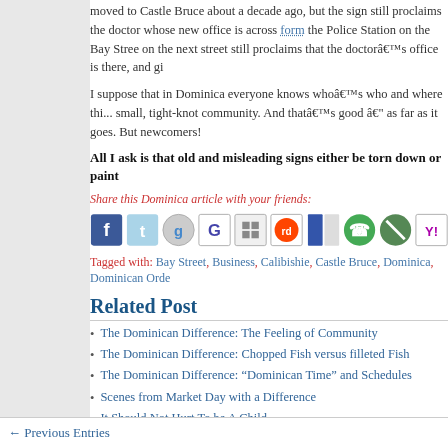moved to Castle Bruce about a decade ago, but the sign still proclaims the doctor whose new office is across form the Police Station on the Bay Street on the next street still proclaims that the doctorâ€™s office is there, and gi
I suppose that in Dominica everyone knows whoâ€™s who and where thi... small, tight-knot community. And thatâ€™s good â€" as far as it goes. But newcomers!
All I ask is that old and misleading signs either be torn down or paint
Share this Dominica article with your friends:
[Figure (infographic): Row of social media sharing icons: Facebook, Twitter, Google+, Google, some other icons, Reddit, Delicious, two more icons, Yahoo]
Tagged with: Bay Street, Business, Calibishie, Castle Bruce, Dominica, Dominican Orde
Related Post
The Dominican Difference: The Feeling of Community
The Dominican Difference: Chopped Fish versus filleted Fish
The Dominican Difference: “Dominican Time” and Schedules
Scenes from Market Day with a Difference
It Should Not Hurt To be A Child
2 Comments →
← Previous Entries